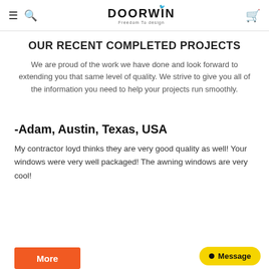DOORWIN — Freedom To design (navigation bar with menu, search, logo, cart icons)
OUR RECENT COMPLETED PROJECTS
We are proud of the work we have done and look forward to extending you that same level of quality. We strive to give you all of the information you need to help your projects run smoothly.
-Adam, Austin, Texas, USA
My contractor loyd thinks they are very good quality as well! Your windows were very well packaged! The awning windows are very cool!